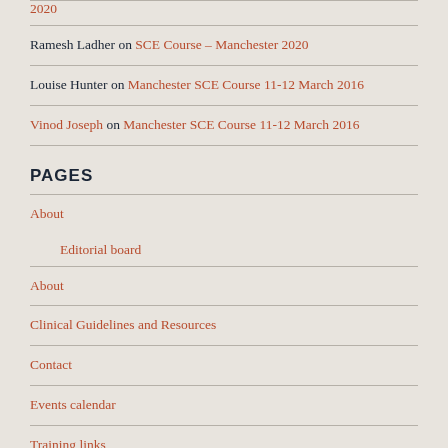2020
Ramesh Ladher on SCE Course – Manchester 2020
Louise Hunter on Manchester SCE Course 11-12 March 2016
Vinod Joseph on Manchester SCE Course 11-12 March 2016
PAGES
About
Editorial board
About
Clinical Guidelines and Resources
Contact
Events calendar
Training links